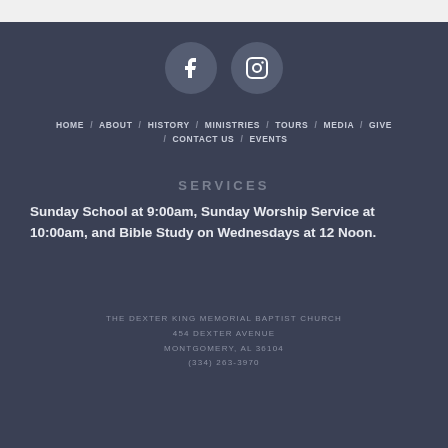[Figure (other): Social media icons: Facebook and Instagram, displayed as white icons inside dark gray circles]
HOME / ABOUT / HISTORY / MINISTRIES / TOURS / MEDIA / GIVE / CONTACT US / EVENTS
SERVICES
Sunday School at 9:00am, Sunday Worship Service at 10:00am, and Bible Study on Wednesdays at 12 Noon.
THE DEXTER KING MEMORIAL BAPTIST CHURCH
454 DEXTER AVENUE
MONTGOMERY, AL 36104
(334) 263-3970